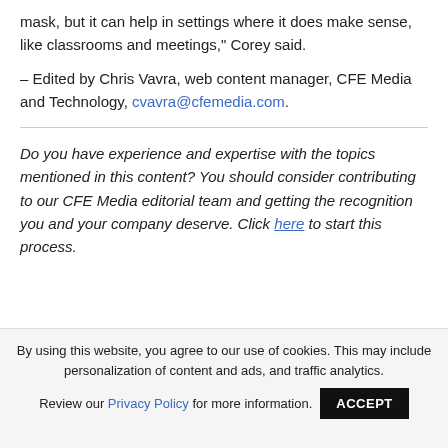mask, but it can help in settings where it does make sense, like classrooms and meetings," Corey said.
– Edited by Chris Vavra, web content manager, CFE Media and Technology, cvavra@cfemedia.com.
Do you have experience and expertise with the topics mentioned in this content? You should consider contributing to our CFE Media editorial team and getting the recognition you and your company deserve. Click here to start this process.
By using this website, you agree to our use of cookies. This may include personalization of content and ads, and traffic analytics. Review our Privacy Policy for more information.